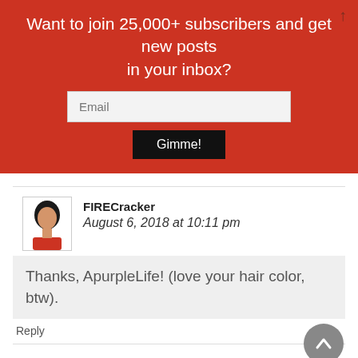Want to join 25,000+ subscribers and get new posts in your inbox?
Email
Gimme!
FIRECracker
August 6, 2018 at 10:11 pm
Thanks, ApurpleLife! (love your hair color, btw).
Reply
Justin
August 6, 2018 at 3:41 pm